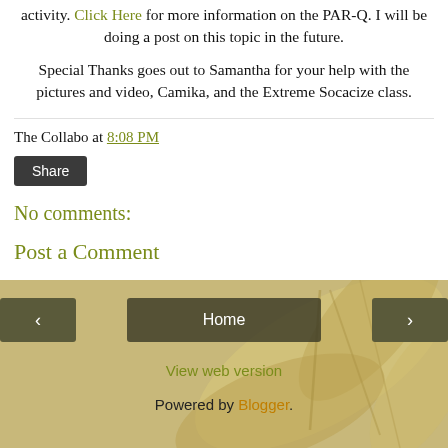activity. Click Here for more information on the PAR-Q. I will be doing a post on this topic in the future.
Special Thanks goes out to Samantha for your help with the pictures and video, Camika, and the Extreme Socacize class.
The Collabo at 8:08 PM
Share
No comments:
Post a Comment
Home
View web version
Powered by Blogger.